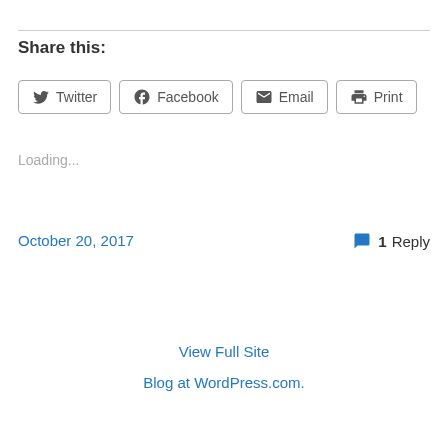Share this:
Twitter
Facebook
Email
Print
Loading...
October 20, 2017
1 Reply
View Full Site
Blog at WordPress.com.